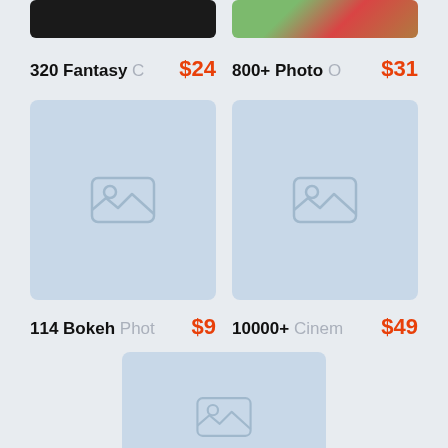[Figure (screenshot): Dark/black image thumbnail for 320 Fantasy product]
[Figure (photo): Floral/garden photo thumbnail for 800+ Photo product]
320 Fantasy C  $24
800+ Photo O  $31
[Figure (photo): Placeholder image for 114 Bokeh Photo product]
[Figure (photo): Placeholder image for 10000+ Cinema product]
114 Bokeh Phot  $9
10000+ Cinem  $49
[Figure (photo): Placeholder image for bottom product (partially visible)]